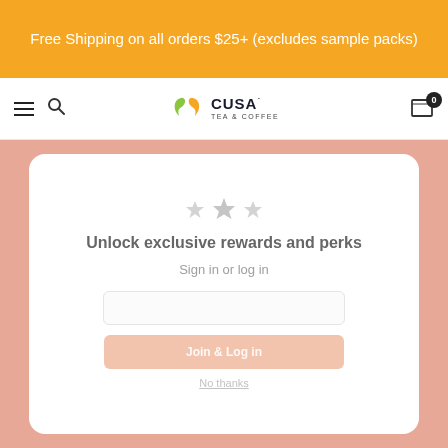Free Shipping on all orders $25+ (excludes sample packs)
[Figure (screenshot): Navigation bar with hamburger menu, search icon, Cusa Tea & Coffee logo, and cart icon with 0 badge]
[Figure (screenshot): Popup modal overlay on salmon/pink background. White card with star icons, text 'Unlock exclusive rewards and perks', 'Sign in or log in' subtext, email input field, join button, and no thanks link. Below the card is partially visible add to cart bar.]